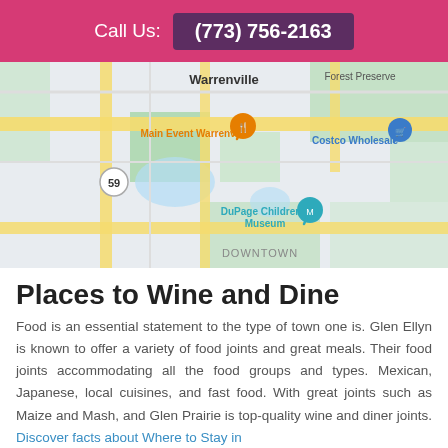Call Us: (773) 756-2163
[Figure (map): Google Maps view showing Warrenville area with landmarks including Main Event Warrenville (orange pin), Costco Wholesale (blue pin), DuPage Children's Museum (teal pin), route 59 circle marker, and DOWNTOWN label. Green park areas and yellow roads visible.]
Places to Wine and Dine
Food is an essential statement to the type of town one is. Glen Ellyn is known to offer a variety of food joints and great meals. Their food joints accommodating all the food groups and types. Mexican, Japanese, local cuisines, and fast food. With great joints such as Maize and Mash, and Glen Prairie is top-quality wine and diner joints. Discover facts about Where to Stay in